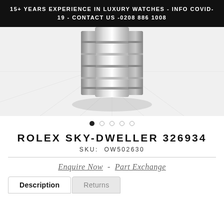15+ YEARS EXPERIENCE IN LUXURY WATCHES - INFO COVID-19 - CONTACT US -0208 886 1008
[Figure (photo): Close-up photo of a stainless steel Rolex watch bracelet/clasp on a reflective surface with grid pattern]
ROLEX SKY-DWELLER 326934
SKU: OW502630
Enquire Now - Part Exchange
Description  Returns